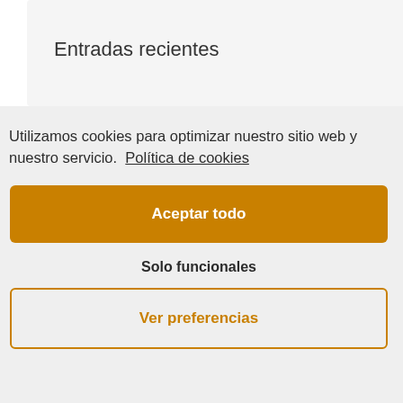Entradas recientes
Utilizamos cookies para optimizar nuestro sitio web y nuestro servicio.  Política de cookies
Aceptar todo
Solo funcionales
Ver preferencias